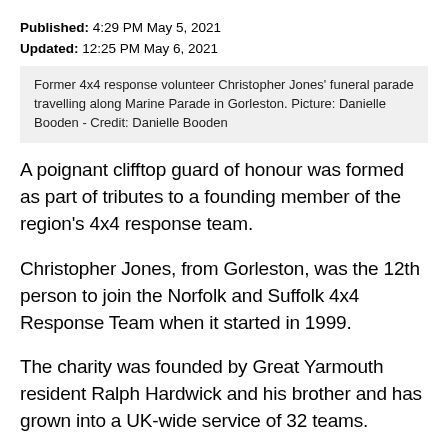Published: 4:29 PM May 5, 2021
Updated: 12:25 PM May 6, 2021
Former 4x4 response volunteer Christopher Jones' funeral parade travelling along Marine Parade in Gorleston. Picture: Danielle Booden - Credit: Danielle Booden
A poignant clifftop guard of honour was formed as part of tributes to a founding member of the region's 4x4 response team.
Christopher Jones, from Gorleston, was the 12th person to join the Norfolk and Suffolk 4x4 Response Team when it started in 1999.
The charity was founded by Great Yarmouth resident Ralph Hardwick and his brother and has grown into a UK-wide service of 32 teams.
Before the funeral service at Great Yarmouth